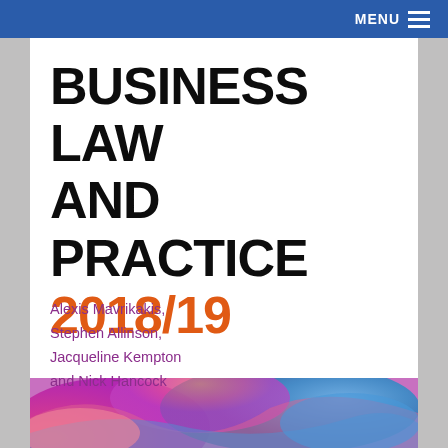MENU
BUSINESS LAW AND PRACTICE 2018/19
Alexis Mavrikakis, Stephen Allinson, Jacqueline Kempton and Nick Hancock
[Figure (illustration): Abstract colorful swirling paint pattern in pink, blue, and magenta tones forming the lower portion of the book cover]